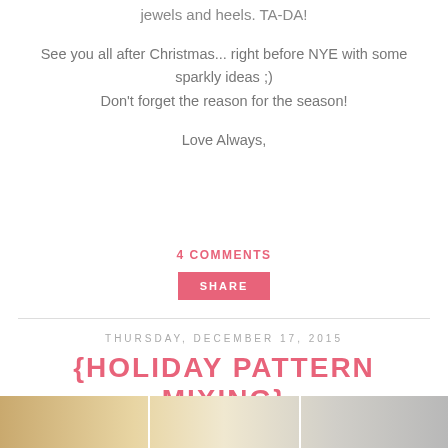jewels and heels. TA-DA!
See you all after Christmas... right before NYE with some sparkly ideas ;)
Don't forget the reason for the season!
Love Always,
4 COMMENTS
SHARE
THURSDAY, DECEMBER 17, 2015
{HOLIDAY PATTERN MIXING}